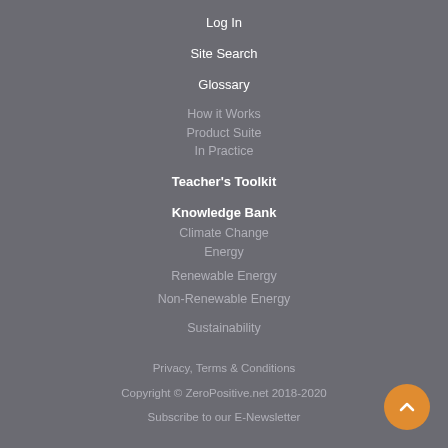Log In
Site Search
Glossary
How it Works
Product Suite
In Practice
Teacher's Toolkit
Knowledge Bank
Climate Change
Energy
Renewable Energy
Non-Renewable Energy
Sustainability
Privacy, Terms & Conditions
Copyright © ZeroPositive.net 2018-2020
Subscribe to our E-Newsletter